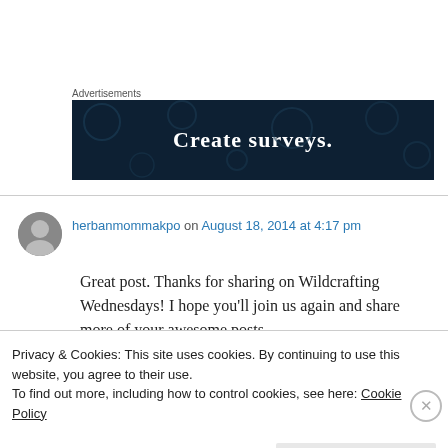Advertisements
[Figure (illustration): Dark navy blue advertisement banner with white bold text reading 'Create surveys.' with decorative circular dots pattern in the background.]
herbanmommakpo on August 18, 2014 at 4:17 pm
Great post. Thanks for sharing on Wildcrafting Wednesdays! I hope you'll join us again and share more of your awesome posts.
Privacy & Cookies: This site uses cookies. By continuing to use this website, you agree to their use.
To find out more, including how to control cookies, see here: Cookie Policy
Close and accept